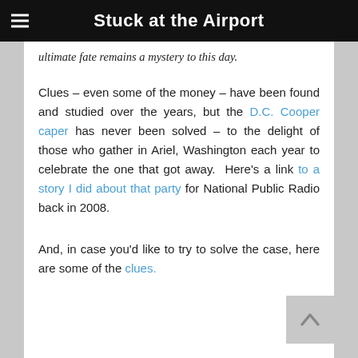Stuck at the Airport
ultimate fate remains a mystery to this day.
Clues – even some of the money – have been found and studied over the years, but the D.C. Cooper caper has never been solved – to the delight of those who gather in Ariel, Washington each year to celebrate the one that got away. Here's a link to a story I did about that party for National Public Radio back in 2008.
And, in case you'd like to try to solve the case, here are some of the clues.